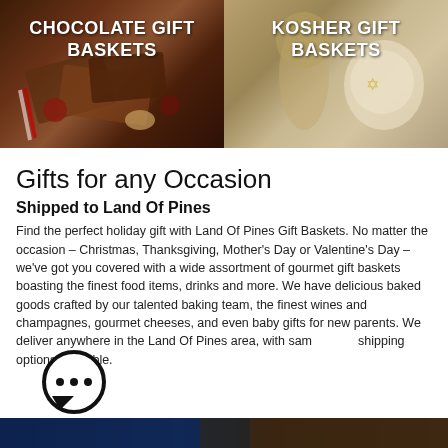[Figure (photo): Two side-by-side product category images: left shows chocolate gift baskets (chocolate pieces, candy canes, nuts), right shows kosher gift baskets (silver goblet, matzah, woven tray). Each image has a bold white text overlay.]
Gifts for any Occasion
Shipped to Land Of Pines
Find the perfect holiday gift with Land Of Pines Gift Baskets. No matter the occasion – Christmas, Thanksgiving, Mother's Day or Valentine's Day – we've got you covered with a wide assortment of gourmet gift baskets boasting the finest food items, drinks and more. We have delicious baked goods crafted by our talented baking team, the finest wines and champagnes, gourmet cheeses, and even baby gifts for new parents. We deliver anywhere in the Land Of Pines area, with same day shipping options available.
[Figure (photo): Bottom strip showing partial images — appears to be another row of gift basket category photos.]